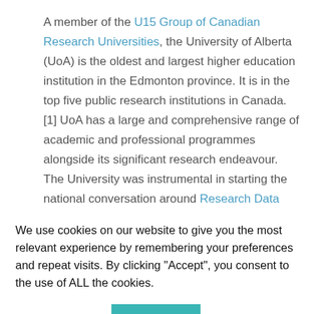A member of the U15 Group of Canadian Research Universities, the University of Alberta (UoA) is the oldest and largest higher education institution in the Edmonton province. It is in the top five public research institutions in Canada. [1] UoA has a large and comprehensive range of academic and professional programmes alongside its significant research endeavour. The University was instrumental in starting the national conversation around Research Data Management (RDM)...
We use cookies on our website to give you the most relevant experience by remembering your preferences and repeat visits. By clicking "Accept", you consent to the use of ALL the cookies.
Cookie settings | ACCEPT